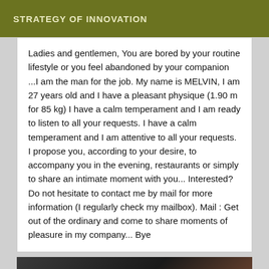STRATEGY OF INNOVATION
Ladies and gentlemen, You are bored by your routine lifestyle or you feel abandoned by your companion ...I am the man for the job. My name is MELVIN, I am 27 years old and I have a pleasant physique (1.90 m for 85 kg) I have a calm temperament and I am ready to listen to all your requests. I have a calm temperament and I am attentive to all your requests. I propose you, according to your desire, to accompany you in the evening, restaurants or simply to share an intimate moment with you... Interested? Do not hesitate to contact me by mail for more information (I regularly check my mailbox). Mail : Get out of the ordinary and come to share moments of pleasure in my company... Bye
[Figure (photo): Dark photo showing what appears to be furniture or objects in a dimly lit room]